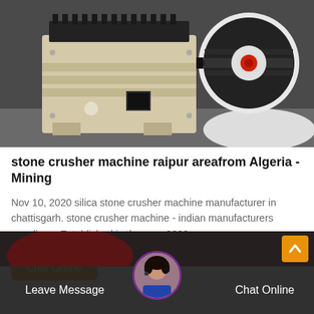[Figure (photo): Industrial stone crusher machine with cream/white painted body, black pulley wheel with red center cap, black conveyor/crusher jaw at top, viewed from front-right angle]
stone crusher machine raipur areafrom Algeria - Mining
Nov 10, 2020 silica stone crusher machine manufacturer in chattisgarh. stone crusher machine - indian manufacturers suppliers . Established in the year 2009 a...
Chat Online
[Figure (photo): Partial view of industrial machinery at bottom of page]
Leave Message
Chat Online